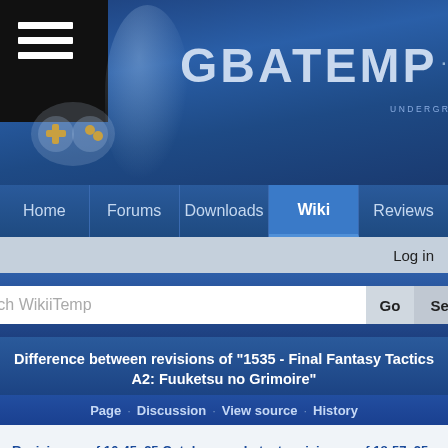[Figure (screenshot): GBAtemp.net banner with logo, controller icon, and navigation menu]
Home · Forums · Downloads · Wiki · Reviews
Log in
Search WikiiTemp | Go | Search
Difference between revisions of "1535 - Final Fantasy Tactics A2: Fuuketsu no Grimoire"
Page · Discussion · View source · History
Revision as of 16:45, 25 October 2007 (view source)
Cyan (talk | contribs)
(→Class and Job: Full list)
Latest revision as of 18:57, 25 October 2007 (view source)
Samutz (talk | contribs)
(→Game's help - Translation)